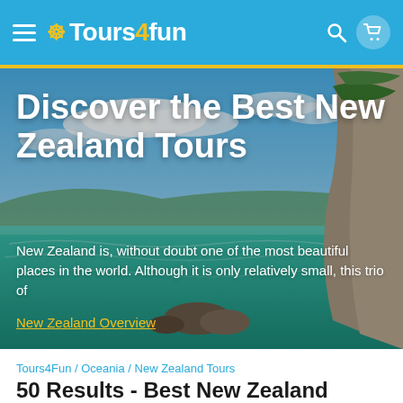Tours4Fun
[Figure (photo): Scenic New Zealand coastal landscape with turquoise water, rocky limestone cliffs, blue sky with clouds, and lush greenery]
Discover the Best New Zealand Tours
New Zealand is, without doubt one of the most beautiful places in the world. Although it is only relatively small, this trio of
New Zealand Overview
Tours4Fun / Oceania / New Zealand Tours
50 Results - Best New Zealand Tours & Things to Do